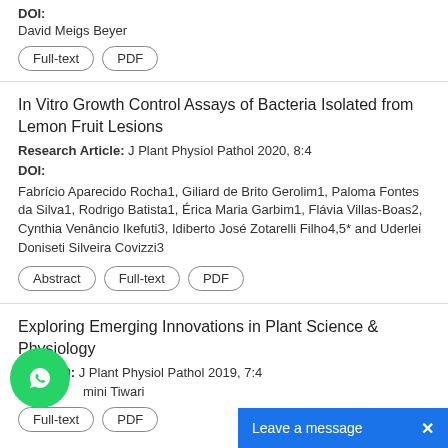DOI:
David Meigs Beyer
Full-text
PDF
In Vitro Growth Control Assays of Bacteria Isolated from Lemon Fruit Lesions
Research Article: J Plant Physiol Pathol 2020, 8:4
DOI:
Fabrício Aparecido Rocha1, Giliard de Brito Gerolim1, Paloma Fontes da Silva1, Rodrigo Batista1, Érica Maria Garbim1, Flávia Villas-Boas2, Cynthia Venâncio Ikefuti3, Idiberto José Zotarelli Filho4,5* and Uderlei Doniseti Silveira Covizzi3
Abstract
Full-text
PDF
Exploring Emerging Innovations in Plant Science & Physiology
rds 2020: J Plant Physiol Pathol 2019, 7:4
mini Tiwari
Full-text
PDF